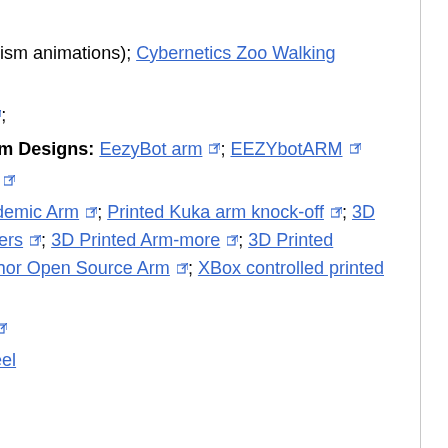Mechanisms
Mechanizmalar (mechanism animations); Cybernetics Zoo Walking Machine Page
Double 4-bar arm design;
Low Cost Manipulator Arm Designs: EezyBot arm; EEZYbotARM
Zortrax 3D printed Arm
Moveo 6DOF; Mecademic Arm; Printed Kuka arm knock-off; 3D Printed Arm with Steppers; 3D Printed Arm-more; 3D Printed Arduino/ROS arm; Thor Open Source Arm; XBox controlled printed arm;
3D Printed 3DOF arm
Kawasaki Stainless Steel